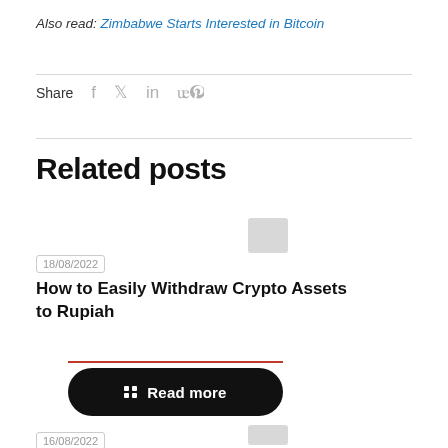Also read: Zimbabwe Starts Interested in Bitcoin
Share
Related posts
18/08/2022
How to Easily Withdraw Crypto Assets to Rupiah
Read more
16/08/2022